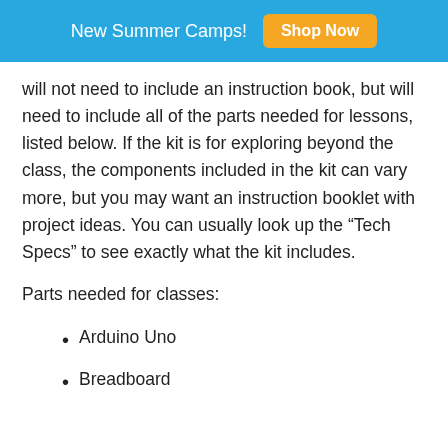New Summer Camps! Shop Now
will not need to include an instruction book, but will need to include all of the parts needed for lessons, listed below. If the kit is for exploring beyond the class, the components included in the kit can vary more, but you may want an instruction booklet with project ideas. You can usually look up the “Tech Specs” to see exactly what the kit includes.
Parts needed for classes:
Arduino Uno
Breadboard